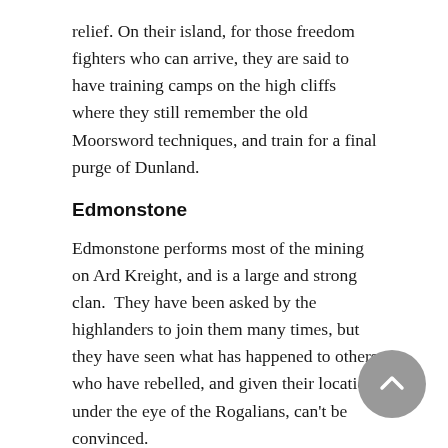relief. On their island, for those freedom fighters who can arrive, they are said to have training camps on the high cliffs where they still remember the old Moorsword techniques, and train for a final purge of Dunland.
Edmonstone
Edmonstone performs most of the mining on Ard Kreight, and is a large and strong clan.  They have been asked by the highlanders to join them many times, but they have seen what has happened to others who have rebelled, and given their location under the eye of the Rogalians, can't be convinced.
MacBain
Clan MacBain has a holdfast right on Ard Kreight, up in the high mountains.  They've made the way up